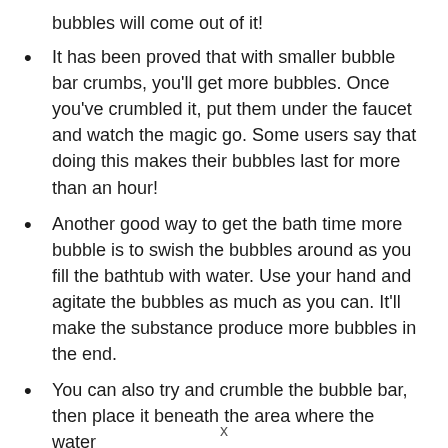bubbles will come out of it!
It has been proved that with smaller bubble bar crumbs, you'll get more bubbles. Once you've crumbled it, put them under the faucet and watch the magic go. Some users say that doing this makes their bubbles last for more than an hour!
Another good way to get the bath time more bubble is to swish the bubbles around as you fill the bathtub with water. Use your hand and agitate the bubbles as much as you can. It'll make the substance produce more bubbles in the end.
You can also try and crumble the bubble bar, then place it beneath the area where the water
x